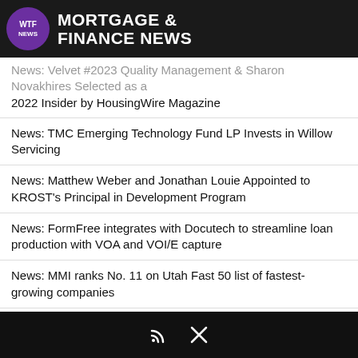MORTGAGE & FINANCE NEWS
News: Velvet #2023 Quality Management & Sharon Novakhires Selected as a 2022 Insider by HousingWire Magazine
News: TMC Emerging Technology Fund LP Invests in Willow Servicing
News: Matthew Weber and Jonathan Louie Appointed to KROST's Principal in Development Program
News: FormFree integrates with Docutech to streamline loan production with VOA and VOI/E capture
News: MMI ranks No. 11 on Utah Fast 50 list of fastest-growing companies
News: DocMagic Earns a Second Consecutive Spot on the Inc. 5000 List of Fastest-Growing Private Companies
ADVERTISEMENT